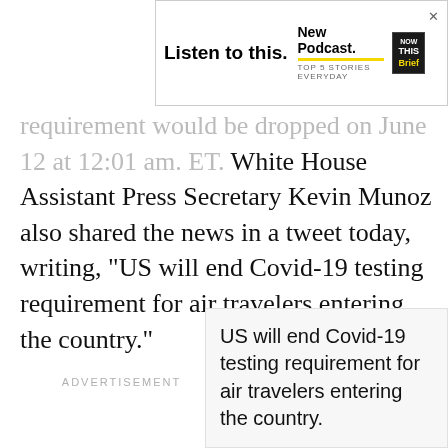[Figure (other): Advertisement banner for 'Now This Brief' podcast: 'Listen to this. New Podcast. TOP 5 STORIES EVERYDAY' with yellow underline and NowThis Brief logo in black box with yellow text, and X close button]
requirement would be dropped on June 12 at 12:01 am. ET. White House Assistant Press Secretary Kevin Munoz also shared the news in a tweet today, writing, “US will end Covid-19 testing requirement for air travelers entering the country.”
ADVERTISEMENT
US will end Covid-19 testing requirement for air travelers entering the country.